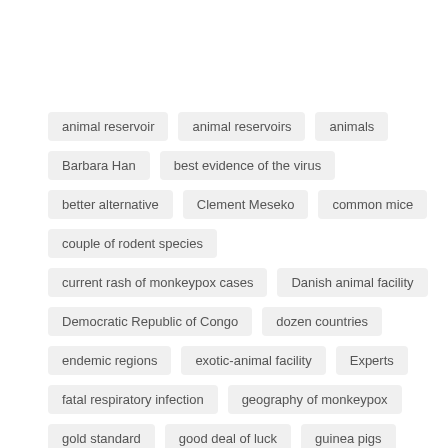animal reservoir
animal reservoirs
animals
Barbara Han
best evidence of the virus
better alternative
Clement Meseko
common mice
couple of rodent species
current rash of monkeypox cases
Danish animal facility
Democratic Republic of Congo
dozen countries
endemic regions
exotic-animal facility
Experts
fatal respiratory infection
geography of monkeypox
gold standard
good deal of luck
guinea pigs
Health Insurance
human communities
human desire